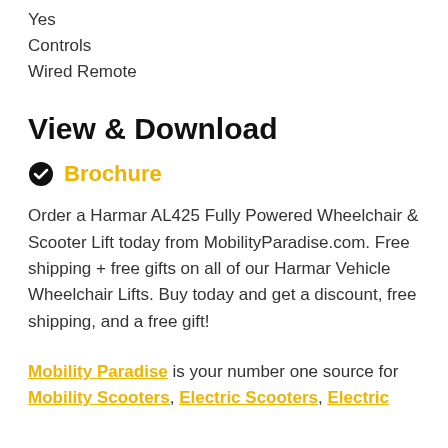Yes
Controls
Wired Remote
View & Download
Brochure
Order a Harmar AL425 Fully Powered Wheelchair & Scooter Lift today from MobilityParadise.com. Free shipping + free gifts on all of our Harmar Vehicle Wheelchair Lifts. Buy today and get a discount, free shipping, and a free gift!
Mobility Paradise is your number one source for Mobility Scooters, Electric Scooters, Electric